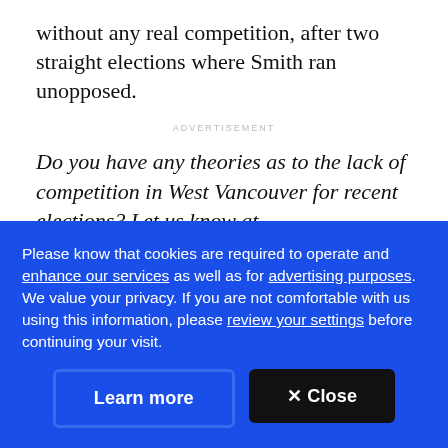without any real competition, after two straight elections where Smith ran unopposed.
ADVERTISEMENT
Do you have any theories as to the lack of competition in West Vancouver for recent elections? Let us know at metromatters@cbc.ca.
[Figure (photo): Partial photo strip visible, dark gray/blue tones]
Please know that cookies are required to operate and enhance our services as well as for advertising purposes. We value your privacy. If you are not comfortable with us using this information, please review your settings before continuing your visit.
Learn more
✕ Close